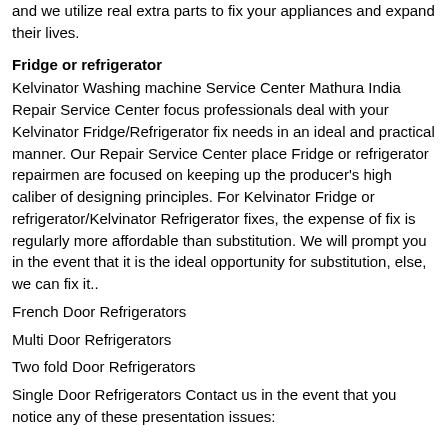and we utilize real extra parts to fix your appliances and expand their lives.
Fridge or refrigerator
Kelvinator Washing machine Service Center Mathura India Repair Service Center focus professionals deal with your Kelvinator Fridge/Refrigerator fix needs in an ideal and practical manner. Our Repair Service Center place Fridge or refrigerator repairmen are focused on keeping up the producer's high caliber of designing principles. For Kelvinator Fridge or refrigerator/Kelvinator Refrigerator fixes, the expense of fix is regularly more affordable than substitution. We will prompt you in the event that it is the ideal opportunity for substitution, else, we can fix it..
French Door Refrigerators
Multi Door Refrigerators
Two fold Door Refrigerators
Single Door Refrigerators Contact us in the event that you notice any of these presentation issues: